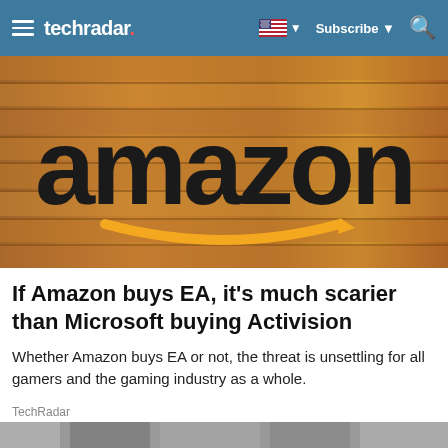techradar. | Subscribe | Search
[Figure (photo): Amazon logo sign with golden smile arrow on wooden slatted wall background]
If Amazon buys EA, it's much scarier than Microsoft buying Activision
Whether Amazon buys EA or not, the threat is unsettling for all gamers and the gaming industry as a whole.
TechRadar
[Figure (photo): Partially visible image strip at bottom of page]